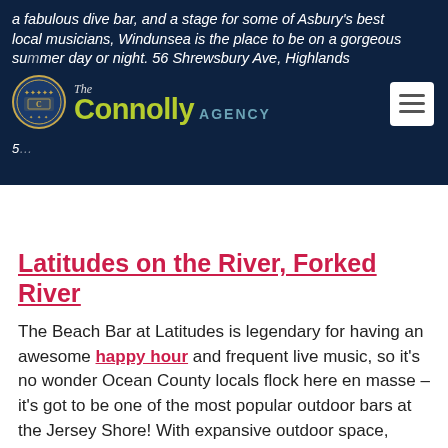a fabulous dive bar, and a stage for some of Asbury's best local musicians, Windunsea is the place to be on a gorgeous summer day or night. 56 Shrewsbury Ave, Highlands
[Figure (logo): The Connolly Agency logo with circular seal and green/blue text]
Latitudes on the River, Forked River
The Beach Bar at Latitudes is legendary for having an awesome happy hour and frequent live music, so it's no wonder Ocean County locals flock here en masse – it's got to be one of the most popular outdoor bars at the Jersey Shore! With expansive outdoor space, Latitudes is going to be hopping all summer long. 361 East Lacey Rd, Forked River